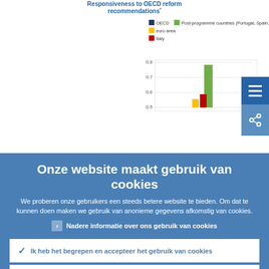[Figure (bar-chart): Partial bar chart visible showing OECD, Post-programme countries (Portugal, Spain, Ireland), euro area, and Italy series with bars around 0.5-0.75 range]
Onze website maakt gebruik van cookies
We proberen onze gebruikers een steeds betere website te bieden. Om dat te kunnen doen maken we gebruik van anonieme gegevens afkomstig van cookies.
Nadere informatie over ons gebruik van cookies
Ik heb het begrepen en accepteer het gebruik van cookies
Ik weiger cookies